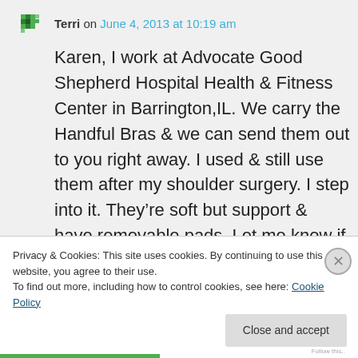Terri on June 4, 2013 at 10:19 am
Karen, I work at Advocate Good Shepherd Hospital Health & Fitness Center in Barrington,IL. We carry the Handful Bras & we can send them out to you right away. I used & still use them after my shoulder surgery. I step into it. They're soft but support & have removable pads. Let me know if I can help you out. Terri
Privacy & Cookies: This site uses cookies. By continuing to use this website, you agree to their use. To find out more, including how to control cookies, see here: Cookie Policy
Close and accept